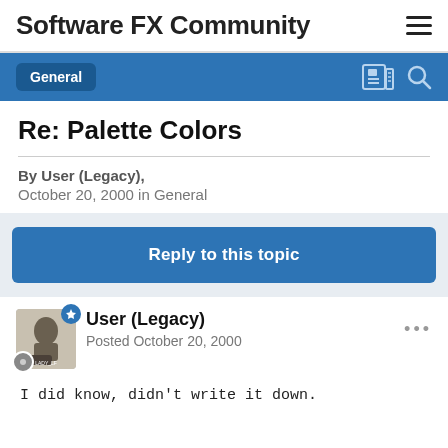Software FX Community
Re: Palette Colors
By User (Legacy), October 20, 2000 in General
Reply to this topic
User (Legacy)
Posted October 20, 2000
I did know, didn't write it down.